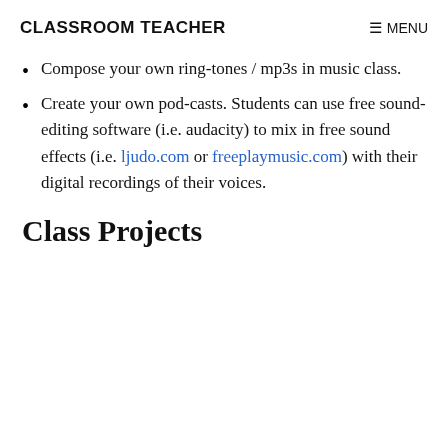CLASSROOM TEACHER   ≡ MENU
Compose your own ring-tones / mp3s in music class.
Create your own pod-casts. Students can use free sound-editing software (i.e. audacity) to mix in free sound effects (i.e. ljudo.com or freeplaymusic.com) with their digital recordings of their voices.
Class Projects